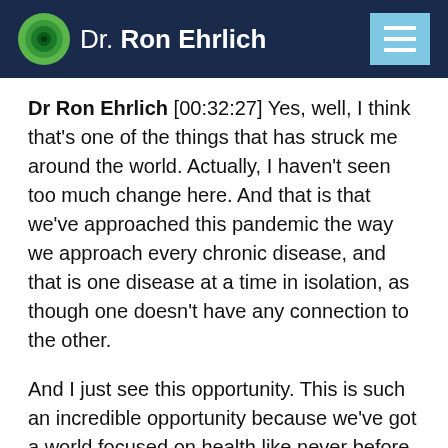Dr. Ron Ehrlich
Dr Ron Ehrlich [00:32:27] Yes, well, I think that's one of the things that has struck me around the world. Actually, I haven't seen too much change here. And that is that we've approached this pandemic the way we approach every chronic disease, and that is one disease at a time in isolation, as though one doesn't have any connection to the other.
And I just see this opportunity. This is such an incredible opportunity because we've got a world focused on health like never before. We can say that unequivocally. And this is an